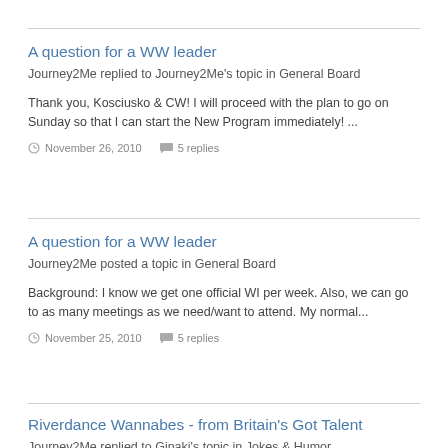A question for a WW leader
Journey2Me replied to Journey2Me's topic in General Board
Thank you, Kosciusko & CW! I will proceed with the plan to go on Sunday so that I can start the New Program immediately! ...
November 26, 2010  5 replies
A question for a WW leader
Journey2Me posted a topic in General Board
Background: I know we get one official WI per week. Also, we can go to as many meetings as we need/want to attend. My normal...
November 25, 2010  5 replies
Riverdance Wannabes - from Britain's Got Talent
Journey2Me replied to Ginaki's topic in Jokes & Humor